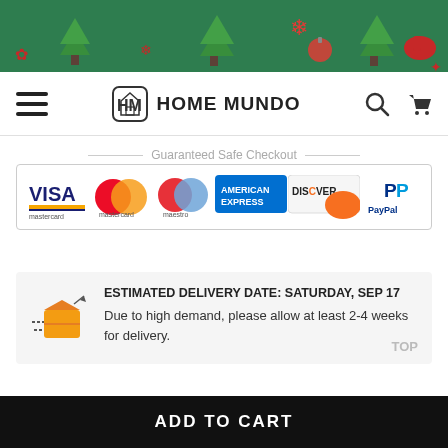[Figure (illustration): Christmas/holiday themed banner with green background, decorative holiday elements (trees, snowflakes, ornaments, mittens) in red and green]
[Figure (logo): Home Mundo logo with hamburger menu icon, search icon, and shopping cart icon navigation bar]
Guaranteed Safe Checkout
[Figure (illustration): Payment method logos: Visa, Mastercard, Maestro, American Express, Discover, PayPal]
ESTIMATED DELIVERY DATE: SATURDAY, SEP 17
Due to high demand, please allow at least 2-4 weeks for delivery.
TOP
ADD TO CART